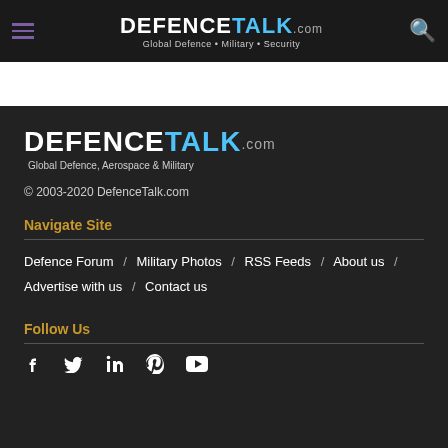DEFENCETALK.com — Global Defence • Military • Security
[Figure (logo): DefenceTalk.com logo with tagline 'Global Defence, Aerospace & Military' on dark background]
© 2003-2020 DefenceTalk.com
Navigate Site
Defence Forum / Military Photos / RSS Feeds / About us / Advertise with us / Contact us
Follow Us
[Figure (infographic): Social media icons: Facebook, Twitter, LinkedIn, Pinterest, YouTube]